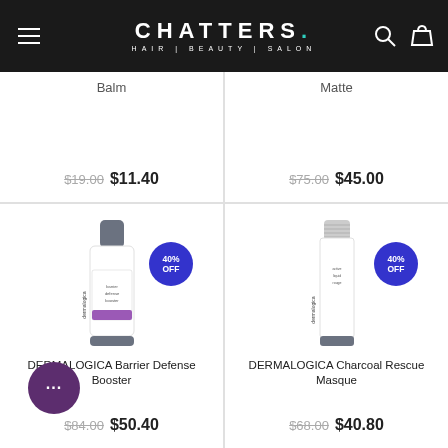CHATTERS. HAIR|BEAUTY|SALON
Balm — $19.00  $11.40
Matte — $75.00  $45.00
[Figure (photo): Dermalogica Barrier Defense Booster product bottle with 40% OFF badge]
DERMALOGICA Barrier Defense Booster
$84.00  $50.40
[Figure (photo): Dermalogica Charcoal Rescue Masque tube with 40% OFF badge]
DERMALOGICA Charcoal Rescue Masque
$68.00  $40.80